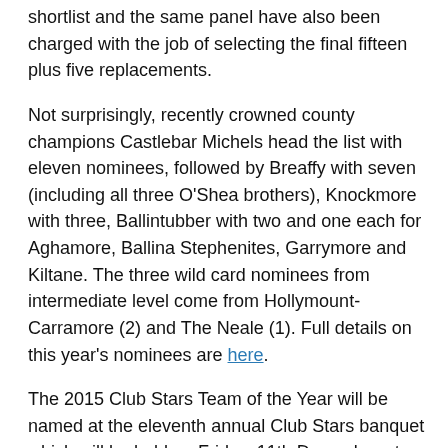shortlist and the same panel have also been charged with the job of selecting the final fifteen plus five replacements.
Not surprisingly, recently crowned county champions Castlebar Michels head the list with eleven nominees, followed by Breaffy with seven (including all three O'Shea brothers), Knockmore with three, Ballintubber with two and one each for Aghamore, Ballina Stephenites, Garrymore and Kiltane. The three wild card nominees from intermediate level come from Hollymount-Carramore (2) and The Neale (1). Full details on this year's nominees are here.
The 2015 Club Stars Team of the Year will be named at the eleventh annual Club Stars banquet which will be held on Friday, 11th December at Knockranny House Hotel in Westport. All proceeds from this year's event will be divided between two charities – Cystic Fibrosis West and the Mayo Rape Crisis Centre. Information on tickets for this year's banquet will be made available in due course.